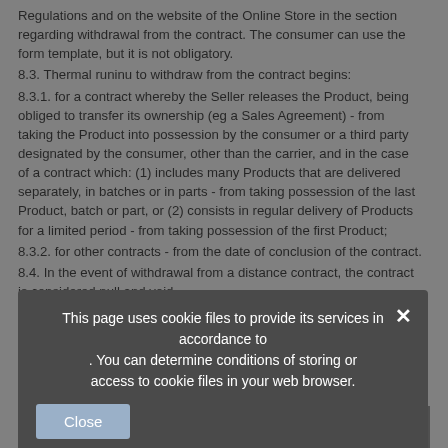Regulations and on the website of the Online Store in the section regarding withdrawal from the contract. The consumer can use the form template, but it is not obligatory.
8.3. Thermal runinu to withdraw from the contract begins:
8.3.1. for a contract whereby the Seller releases the Product, being obliged to transfer its ownership (eg a Sales Agreement) - from taking the Product into possession by the consumer or a third party designated by the consumer, other than the carrier, and in the case of a contract which: (1) includes many Products that are delivered separately, in batches or in parts - from taking possession of the last Product, batch or part, or (2) consists in regular delivery of Products for a limited period - from taking possession of the first Product;
8.3.2. for other contracts - from the date of conclusion of the contract.
8.4. In the event of withdrawal from a distance contract, the contract is considered null and void.
8.5. The Seller is obliged to immediately, no later than within 14 calendar days from the date of receipt of the consumer's statement on withdrawal from the contract, return all payments made by the consumer, including the delivery of the Product (except for additional costs resulting from the method of delivery chosen by the consumer other than the cheapest standard delivery method available in the Online Store). The seller shall
This page uses cookie files to provide its services in accordance to . You can determine conditions of storing or access to cookie files in your web browser.
8.6. The consumer is obliged to immediately, no later than within 14 calendar days from the date on which he withdraws from the contract,